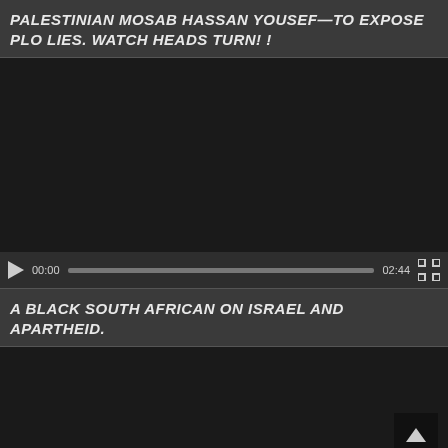PALESTINIAN MOSAB HASSAN YOUSEF—TO EXPOSE PLO LIES. WATCH HEADS TURN! !
[Figure (screenshot): Embedded video player showing a dark/black video screen with playback controls. Controls show play button, timestamp 00:00, progress bar, duration 02:44, and fullscreen button.]
A BLACK SOUTH AFRICAN ON ISRAEL AND APARTHEID.
[Figure (screenshot): Second embedded video player showing a dark/black video screen. A scroll-to-top button with an upward arrow is visible in the bottom-right corner.]